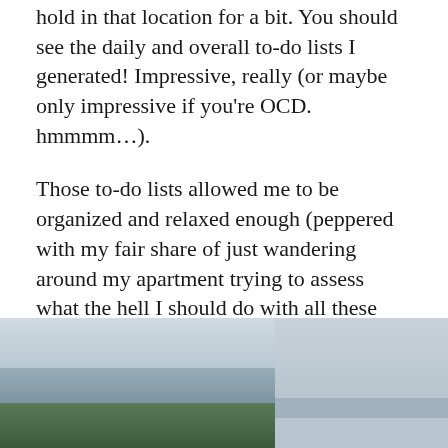hold in that location for a bit. You should see the daily and overall to-do lists I generated! Impressive, really (or maybe only impressive if you're OCD. hmmmm...).
Those to-do lists allowed me to be organized and relaxed enough (peppered with my fair share of just wandering around my apartment trying to assess what the hell I should do with all these things) to have a bit of free time before I left town to say farewell to some of the things I love the most about that town: The View, The Trail, and The Lake.
[Figure (photo): Two side-by-side outdoor photographs. The left photo shows a panoramic view of a waterfront city with green trees in the foreground, a body of water in the middle, and an overcast grey sky. The right photo shows a hazy grey sky with minimal visible detail.]